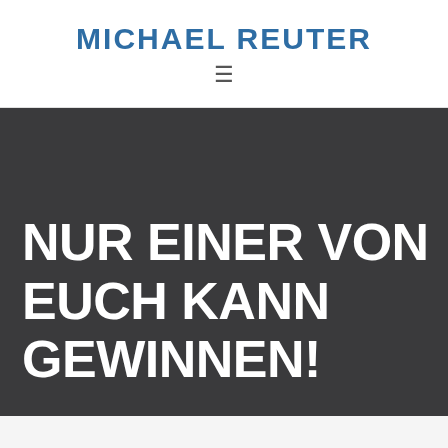MICHAEL REUTER
[Figure (other): Hamburger menu icon (three horizontal lines)]
NUR EINER VON EUCH KANN GEWINNEN!